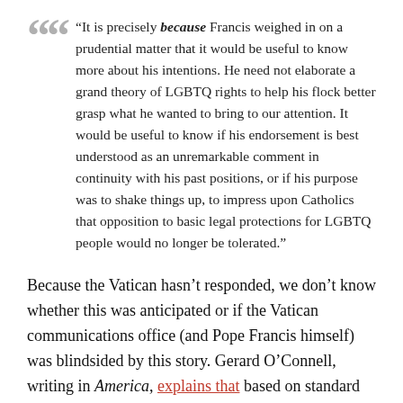“It is precisely because Francis weighed in on a prudential matter that it would be useful to know more about his intentions. He need not elaborate a grand theory of LGBTQ rights to help his flock better grasp what he wanted to bring to our attention. It would be useful to know if his endorsement is best understood as an unremarkable comment in continuity with his past positions, or if his purpose was to shake things up, to impress upon Catholics that opposition to basic legal protections for LGBTQ people would no longer be tolerated.”
Because the Vatican hasn’t responded, we don’t know whether this was anticipated or if the Vatican communications office (and Pope Francis himself) was blindsided by this story. Gerard O’Connell, writing in America, explains that based on standard protocol, the